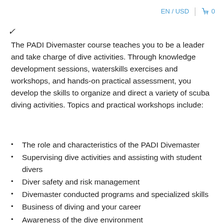EN / USD  🛒 0
The PADI Divemaster course teaches you to be a leader and take charge of dive activities. Through knowledge development sessions, waterskills exercises and workshops, and hands-on practical assessment, you develop the skills to organize and direct a variety of scuba diving activities. Topics and practical workshops include:
The role and characteristics of the PADI Divemaster
Supervising dive activities and assisting with student divers
Diver safety and risk management
Divemaster conducted programs and specialized skills
Business of diving and your career
Awareness of the dive environment
Dive setup and management
Mapping an open water site